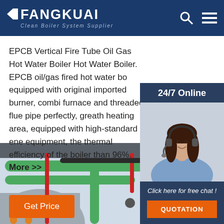FANGKUAI Clean Boiler System Supplier
EPCB Vertical Fire Tube Oil Gas Hot Water Boiler Hot Water Boiler. EPCB oil/gas fired hot water bo equipped with original imported burner, combi furnace and threaded flue pipe perfectly, greath heating area, equipped with high-standard ene equipment, the thermal efficiency of the boiler than 96%. More >>
[Figure (photo): 24/7 Online chat support widget with a photo of a woman wearing a headset, and a QUOTATION button]
Get Price
[Figure (photo): Industrial boiler room with green insulated pipes, red pipes, and various equipment. TOP label visible in bottom right.]